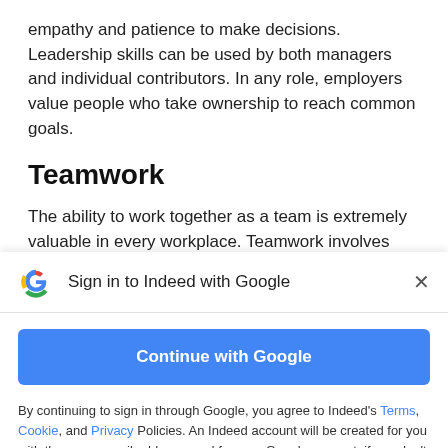empathy and patience to make decisions. Leadership skills can be used by both managers and individual contributors. In any role, employers value people who take ownership to reach common goals.
Teamwork
The ability to work together as a team is extremely valuable in every workplace. Teamwork involves
[Figure (screenshot): Google sign-in modal with Google G logo, title 'Sign in to Indeed with Google', a close (X) button, a blue 'Continue with Google' button, and disclaimer text about Terms, Cookie, and Privacy policies.]
By continuing to sign in through Google, you agree to Indeed's Terms, Cookie, and Privacy Policies. An Indeed account will be created for you with the same email address used for your Google account, if you don't already have an Indeed account associated with that email. Indeed will send you marketing emails unless you object to these and you can unsubscribe at any time.